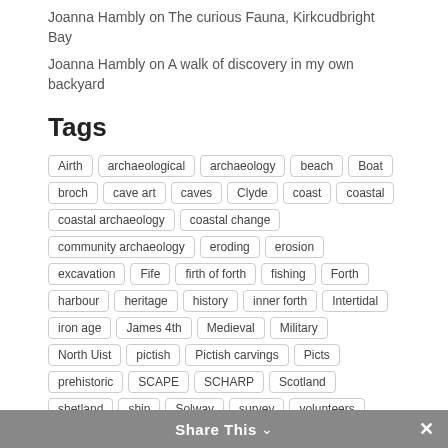Joanna Hambly on The curious Fauna, Kirkcudbright Bay
Joanna Hambly on A walk of discovery in my own backyard
Tags
Airth archaeological archaeology beach Boat broch cave art caves Clyde coast coastal coastal archaeology coastal change community archaeology eroding erosion excavation Fife firth of forth fishing Forth harbour heritage history inner forth Intertidal iron age James 4th Medieval Military North Uist pictish Pictish carvings Picts prehistoric SCAPE SCHARP Scotland shetland ship Solway survey volunteers Rumlyss Caves Western Isles
Share This